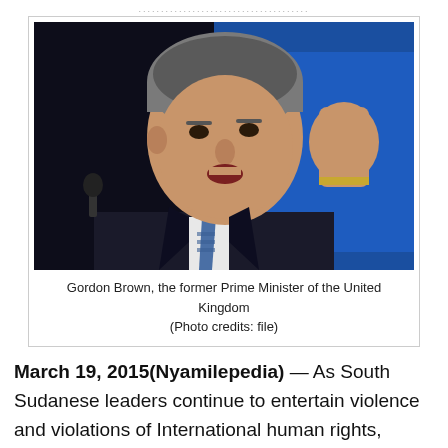[Figure (photo): Gordon Brown, the former Prime Minister of the United Kingdom, gesturing while speaking, wearing a dark suit and blue tie, with a blue background]
Gordon Brown, the former Prime Minister of the United Kingdom (Photo credits: file)
March 19, 2015(Nyamilepedia) — As South Sudanese leaders continue to entertain violence and violations of International human rights, crimes and crimes against